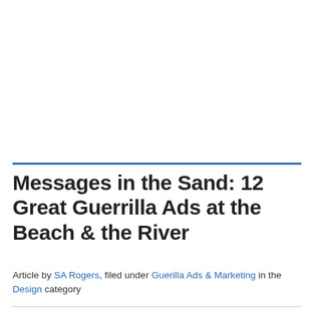Messages in the Sand: 12 Great Guerrilla Ads at the Beach & the River
Article by SA Rogers, filed under Guerilla Ads & Marketing in the Design category